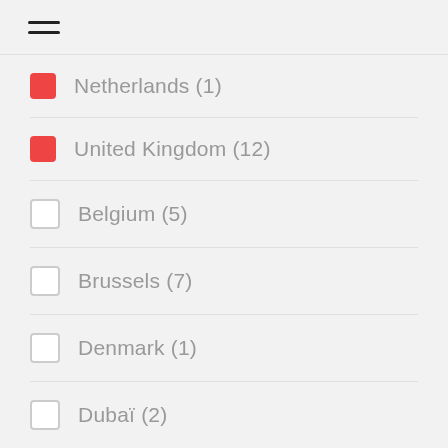≡ (hamburger menu icon)
Netherlands (1) — checked
United Kingdom (12) — checked
Belgium (5) — unchecked
Brussels (7) — unchecked
Denmark (1) — unchecked
Dubaï (2) — unchecked
France (1) — unchecked
Ireland (1) — unchecked